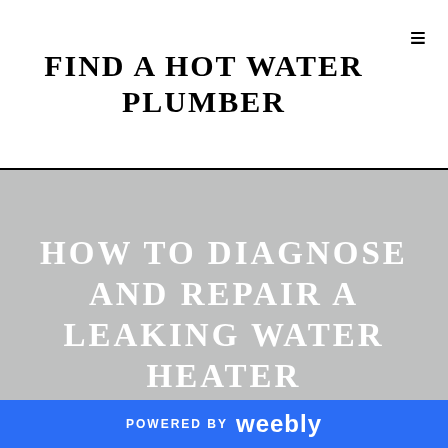FIND A HOT WATER PLUMBER
HOW TO DIAGNOSE AND REPAIR A LEAKING WATER HEATER
And my problem's right here, I'm getting water coming out
POWERED BY weebly